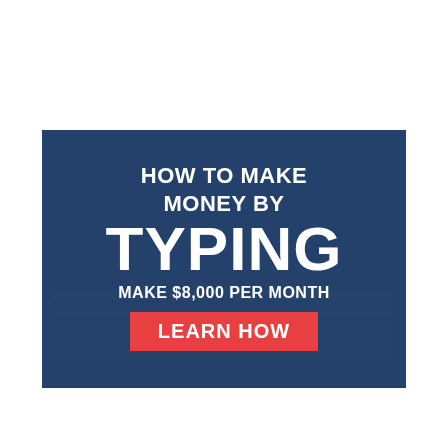[Figure (infographic): Promotional advertisement image with dark blue overlay background showing a keyboard, with bold white text reading 'HOW TO MAKE MONEY BY TYPING' and 'MAKE $8,000 PER MONTH' and a red button labeled 'LEARN HOW']